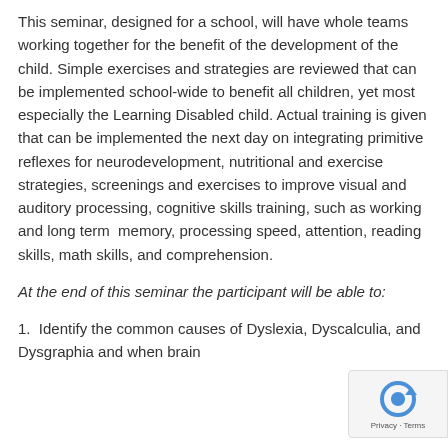This seminar, designed for a school, will have whole teams working together for the benefit of the development of the child. Simple exercises and strategies are reviewed that can be implemented school-wide to benefit all children, yet most especially the Learning Disabled child. Actual training is given that can be implemented the next day on integrating primitive reflexes for neurodevelopment, nutritional and exercise strategies, screenings and exercises to improve visual and auditory processing, cognitive skills training, such as working and long term  memory, processing speed, attention, reading skills, math skills, and comprehension.
At the end of this seminar the participant will be able to:
1.  Identify the common causes of Dyslexia, Dyscalculia, and Dysgraphia and when brain